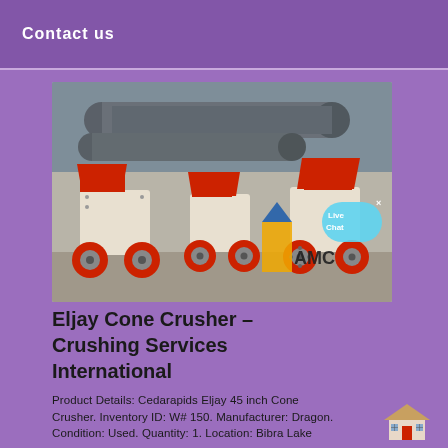Contact us
[Figure (photo): Industrial hammer crusher machines with red wheels and hoppers, bearing the AMC logo, displayed in a factory yard with large cylindrical pipes in the background. A Live Chat bubble overlay is visible.]
Eljay Cone Crusher – Crushing Services International
Product Details: Cedarapids Eljay 45 inch Cone Crusher. Inventory ID: W# 150. Manufacturer: Dragon. Condition: Used. Quantity: 1. Location: Bibra Lake